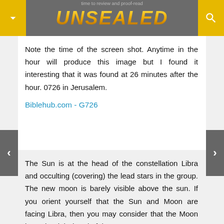time to review and proof-read
[Figure (logo): UNSEALED logo in gold italic text on grey header bar with yellow dropdown and search buttons]
Note the time of the screen shot. Anytime in the hour will produce this image but I found it interesting that it was found at 26 minutes after the hour. 0726 in Jerusalem.
Biblehub.com - G726
The Sun is at the head of the constellation Libra and occulting (covering) the lead stars in the group. The new moon is barely visible above the sun. If you orient yourself that the Sun and Moon are facing Libra, then you may consider that the Moon is on the right-hand of the Sun.